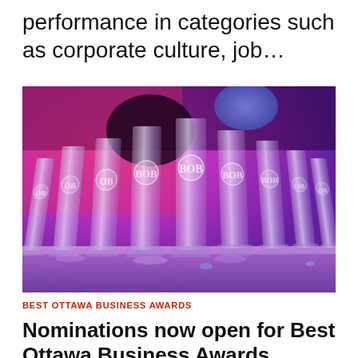performance in categories such as corporate culture, job…
[Figure (photo): Row of crystal glass award trophies with 'BOB' (Best Ottawa Business) logos, displayed on a table under dramatic pink and purple event lighting]
BEST OTTAWA BUSINESS AWARDS
Nominations now open for Best Ottawa Business Awards